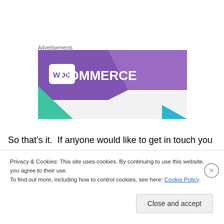Advertisements
[Figure (logo): WooCommerce advertisement banner with purple background, white WooCommerce logo, green triangle bottom-left, light blue triangle bottom-right, gray lower section]
So that’s it.  If anyone would like to get in touch you can
Privacy & Cookies: This site uses cookies. By continuing to use this website, you agree to their use.
To find out more, including how to control cookies, see here: Cookie Policy
Close and accept